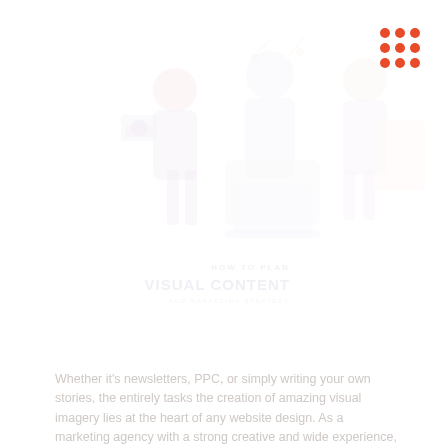[Figure (illustration): Faded illustration showing people engaged in creative/marketing work — photographer, designer with laptop, person with large smartphone or document, rendered in light pink/blue tones. Overlaid text reads 'HOW TO PLAN VISUAL CONTENT FOR MARKETING STRATEGY'.]
Whether it's newsletters, PPC, or simply writing your own stories, the entirely tasks the creation of amazing visual imagery lies at the heart of any website design. As a marketing agency with a strong creative and wide experience, our mission is to convey a partner that helps our clients declare it... Read More